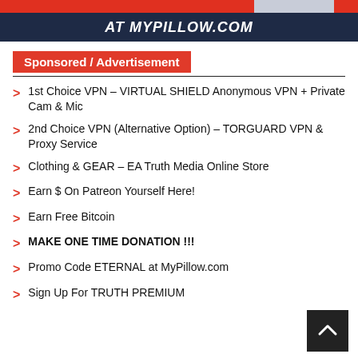[Figure (screenshot): Top banner with dark navy background showing 'AT MYPILLOW.COM' in white bold italic text, with a red strip at top and a gray box on the right.]
Sponsored / Advertisement
1st Choice VPN – VIRTUAL SHIELD Anonymous VPN + Private Cam & Mic
2nd Choice VPN (Alternative Option) – TORGUARD VPN & Proxy Service
Clothing & GEAR – EA Truth Media Online Store
Earn $ On Patreon Yourself Here!
Earn Free Bitcoin
MAKE ONE TIME DONATION !!!
Promo Code ETERNAL at MyPillow.com
Sign Up For TRUTH PREMIUM